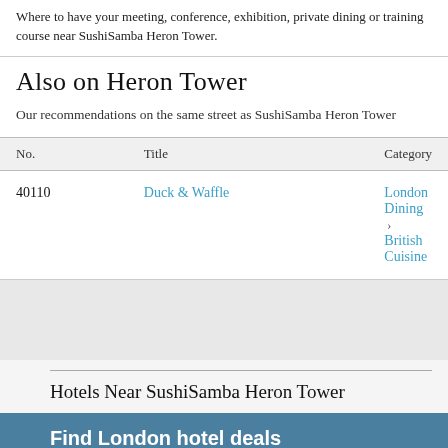Where to have your meeting, conference, exhibition, private dining or training course near SushiSamba Heron Tower.
Also on Heron Tower
Our recommendations on the same street as SushiSamba Heron Tower
| No. | Title | Category |
| --- | --- | --- |
| 40110 | Duck & Waffle | London Dining > British Cuisine |
Hotels Near SushiSamba Heron Tower
Find London hotel deals